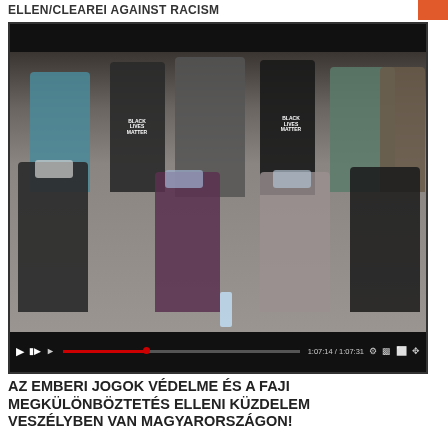ELLEN/CLEAREI AGAINST RACISM
[Figure (photo): Group photo of approximately 9 people wearing face masks, some wearing Black Lives Matter shirts, seated and standing in an office/library setting. Below the photo is a video player control bar showing timestamp 1:07:14 / 1:07:31.]
AZ EMBERI JOGOK VÉDELME ÉS A FAJI MEGKÜLÖNBÖZTETÉS ELLENI KÜZDELEM VESZÉLYBEN VAN MAGYARORSZÁGON!
Ezért a SPIN hálózat szolidaritási kampányt indít a Mahatma Gandhi Emberi Jogi Szervezet megsegítésére. Támogassa Ön is a szervezet munkáját 20 €-val, ezért kapni fog egy jó minőségű, szolidaritás emblémával ellátott pólét. A részletekért